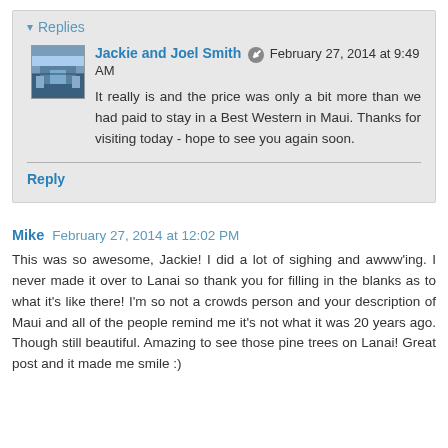Replies
Jackie and Joel Smith  February 27, 2014 at 9:49 AM
It really is and the price was only a bit more than we had paid to stay in a Best Western in Maui. Thanks for visiting today - hope to see you again soon.
Reply
Mike  February 27, 2014 at 12:02 PM
This was so awesome, Jackie! I did a lot of sighing and awww'ing. I never made it over to Lanai so thank you for filling in the blanks as to what it's like there! I'm so not a crowds person and your description of Maui and all of the people remind me it's not what it was 20 years ago. Though still beautiful. Amazing to see those pine trees on Lanai! Great post and it made me smile :)